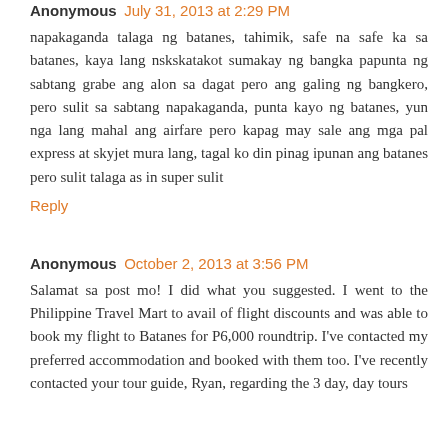Anonymous July 31, 2013 at 2:29 PM
napakaganda talaga ng batanes, tahimik, safe na safe ka sa batanes, kaya lang nskskatakot sumakay ng bangka papunta ng sabtang grabe ang alon sa dagat pero ang galing ng bangkero, pero sulit sa sabtang napakaganda, punta kayo ng batanes, yun nga lang mahal ang airfare pero kapag may sale ang mga pal express at skyjet mura lang, tagal ko din pinag ipunan ang batanes pero sulit talaga as in super sulit
Reply
Anonymous October 2, 2013 at 3:56 PM
Salamat sa post mo! I did what you suggested. I went to the Philippine Travel Mart to avail of flight discounts and was able to book my flight to Batanes for P6,000 roundtrip. I've contacted my preferred accommodation and booked with them too. I've recently contacted your tour guide, Ryan, regarding the 3 day, day tours